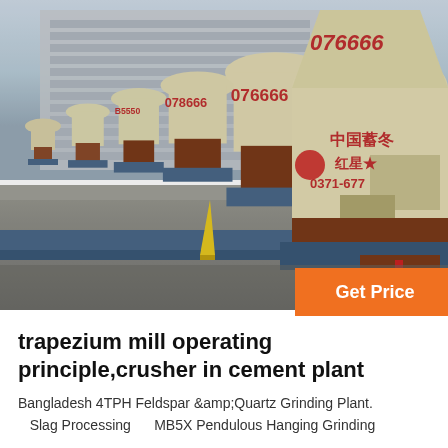[Figure (photo): Row of large industrial trapezium grinding mill machines (cream/beige colored) lined up in an outdoor factory yard with a multi-story industrial building in the background. Chinese text and phone number visible on the nearest machine: 中国蓄冬, 红星★, 0371-677..., and machine numbers 076666, 078666, etc.]
trapezium mill operating principle,crusher in cement plant
Bangladesh 4TPH Feldspar &amp; Quartz Grinding Plant.
   Slag Processing      MB5X Pendulous Hanging Grinding